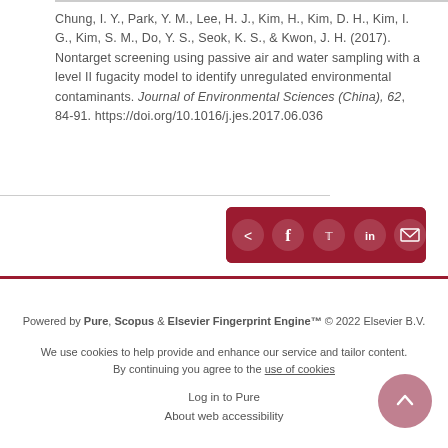Chung, I. Y., Park, Y. M., Lee, H. J., Kim, H., Kim, D. H., Kim, I. G., Kim, S. M., Do, Y. S., Seok, K. S., & Kwon, J. H. (2017). Nontarget screening using passive air and water sampling with a level II fugacity model to identify unregulated environmental contaminants. Journal of Environmental Sciences (China), 62, 84-91. https://doi.org/10.1016/j.jes.2017.06.036
[Figure (other): Dark red share bar with social media icons: share, Facebook, Twitter, LinkedIn, email]
Powered by Pure, Scopus & Elsevier Fingerprint Engine™ © 2022 Elsevier B.V.
We use cookies to help provide and enhance our service and tailor content. By continuing you agree to the use of cookies
Log in to Pure
About web accessibility